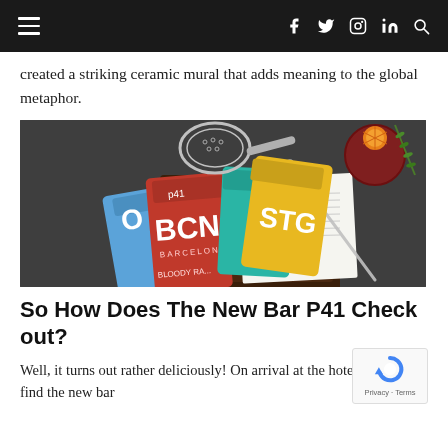Navigation bar with hamburger menu and social icons (f, twitter, instagram, linkedin, search)
created a striking ceramic mural that adds meaning to the global metaphor.
[Figure (photo): Flat lay photo on dark slate surface showing airport luggage tag style cocktail recipe cards (BCN Barcelona in red, STG in yellow, blue card partially visible) fanned out of a dark leather folder/menu, alongside a bar strainer, long bar spoon, and a glass of red cocktail garnished with an orange slice and rosemary sprig.]
So How Does The New Bar P41 Check out?
Well, it turns out rather deliciously! On arrival at the hotel you will find the new bar